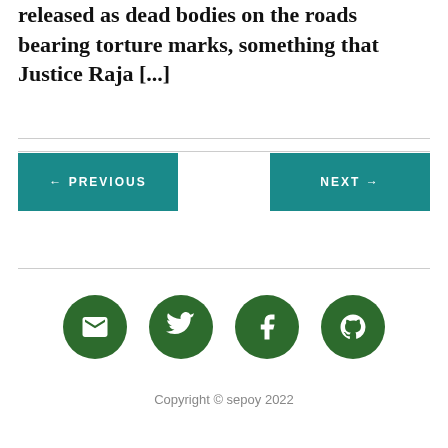released as dead bodies on the roads bearing torture marks, something that Justice Raja [...]
← PREVIOUS
NEXT →
[Figure (illustration): Four green circular social media icons: email/envelope, Twitter bird, Facebook f, GitHub logo]
Copyright © sepoy 2022